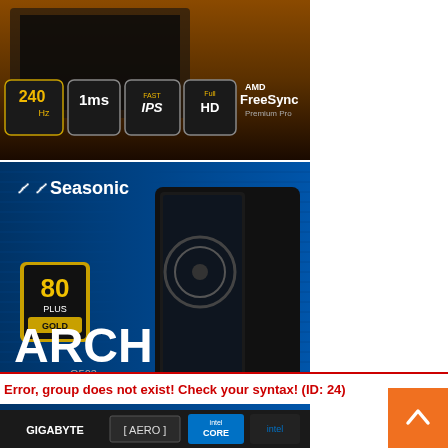[Figure (illustration): Monitor advertisement banner: 240Hz, 1ms, Fast IPS, Full HD, AMD FreeSync Premium Pro, dark gaming monitor image with golden/orange background]
[Figure (illustration): Seasonic ARCH Q503 PC case advertisement: blue background with horizontal lines, 80 PLUS Gold badge, black PC tower, text 'ARCH Q503' and 'ONE CLEAN SOLUTION']
Archives
Select Month
Error, group does not exist! Check your syntax! (ID: 24)
[Figure (illustration): Bottom advertisement strip showing GIGABYTE, AERO, Intel Core, Intel logos on dark background]
[Figure (illustration): Orange scroll-to-top button with upward arrow chevron]